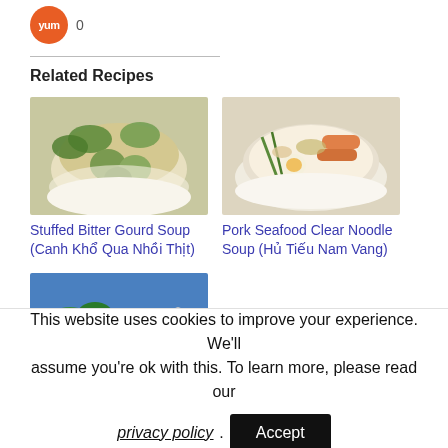[Figure (logo): Yum button (orange circle with 'yum' text) and count '0']
Related Recipes
[Figure (photo): Photo of Stuffed Bitter Gourd Soup in a bowl]
Stuffed Bitter Gourd Soup (Canh Khổ Qua Nhồi Thịt)
[Figure (photo): Photo of Pork Seafood Clear Noodle Soup in a bowl]
Pork Seafood Clear Noodle Soup (Hủ Tiếu Nam Vang)
[Figure (photo): Partial photo of a third recipe (shrimp/greens dish)]
This website uses cookies to improve your experience. We'll assume you're ok with this. To learn more, please read our privacy policy . Accept